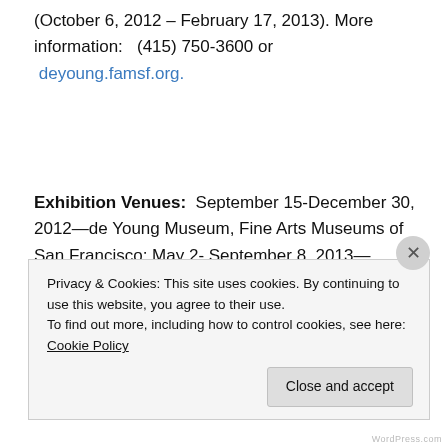(October 6, 2012 – February 17, 2013).  More information:   (415) 750-3600 or  deyoung.famsf.org.
Exhibition Venues:  September 15-December 30, 2012—de Young Museum, Fine Arts Museums of San Francisco; May 2- September 8, 2013—Portland Museum of Art in Maine; October 10, 2013-January 5, 2014—the Fine Arts Museum of Quebec;  and  2014—the Crystal Bridges
Privacy & Cookies: This site uses cookies. By continuing to use this website, you agree to their use.
To find out more, including how to control cookies, see here: Cookie Policy
Close and accept